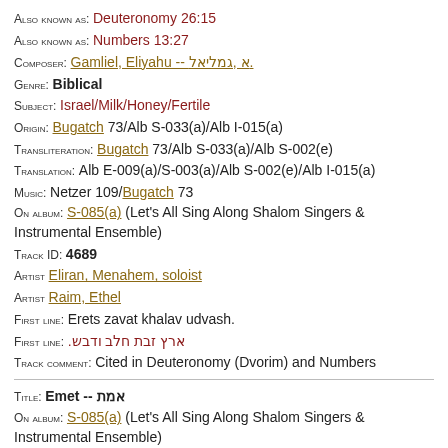Also known as: Deuteronomy 26:15
Also known as: Numbers 13:27
Composer: Gamliel, Eliyahu -- א ,גמליאל.
Genre: Biblical
Subject: Israel/Milk/Honey/Fertile
Origin: Bugatch 73/Alb S-033(a)/Alb I-015(a)
Transliteration: Bugatch 73/Alb S-033(a)/Alb S-002(e)
Translation: Alb E-009(a)/S-003(a)/Alb S-002(e)/Alb I-015(a)
Music: Netzer 109/Bugatch 73
On album: S-085(a) (Let's All Sing Along Shalom Singers & Instrumental Ensemble)
Track ID: 4689
Artist Eliran, Menahem, soloist
Artist Raim, Ethel
First line: Erets zavat khalav udvash.
First line: ארץ זבת חלב ודבש.
Track comment: Cited in Deuteronomy (Dvorim) and Numbers
Title: Emet -- אמת
On album: S-085(a) (Let's All Sing Along Shalom Singers & Instrumental Ensemble)
Track ID: 4645